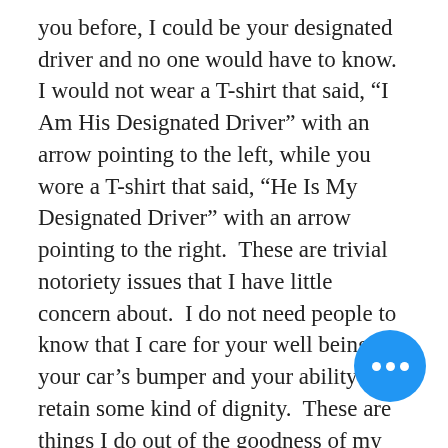you before, I could be your designated driver and no one would have to know. I would not wear a T-shirt that said, “I Am His Designated Driver” with an arrow pointing to the left, while you wore a T-shirt that said, “He Is My Designated Driver” with an arrow pointing to the right.  These are trivial notoriety issues that I have little concern about.  I do not need people to know that I care for your well being and your car’s bumper and your ability to retain some kind of dignity.  These are things I do out of the goodness of my heart – which I will, just so know, repeat to you over and over and over again on the ride home, which I am providing since I am your designated driver.
I will have a list of rules you will have to follow if you want my designated-
[Figure (other): Blue circular chat bubble button with three white dots (ellipsis), positioned in the lower right area of the page.]